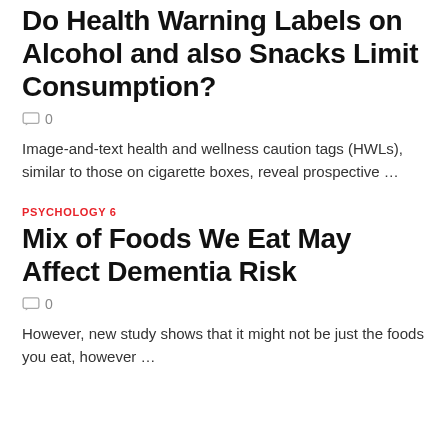Do Health Warning Labels on Alcohol and also Snacks Limit Consumption?
0
Image-and-text health and wellness caution tags (HWLs), similar to those on cigarette boxes, reveal prospective …
PSYCHOLOGY 6
Mix of Foods We Eat May Affect Dementia Risk
0
However, new study shows that it might not be just the foods you eat, however …